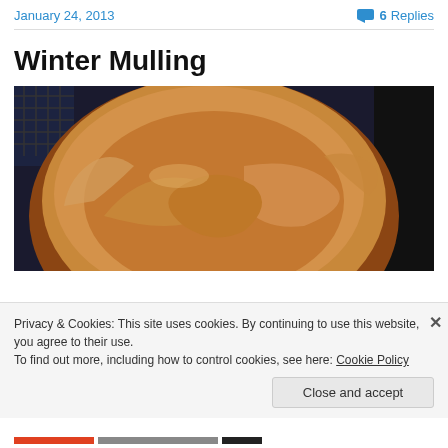January 24, 2013   6 Replies
Winter Mulling
[Figure (photo): Close-up photo of a golden-brown baked pie in a round dish, viewed from above, with a decorative crust on top.]
Privacy & Cookies: This site uses cookies. By continuing to use this website, you agree to their use.
To find out more, including how to control cookies, see here: Cookie Policy
Close and accept